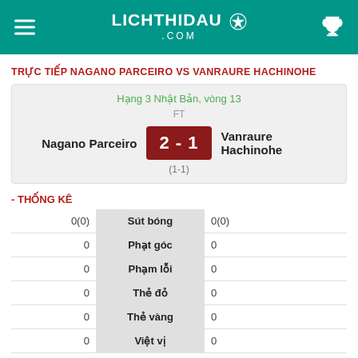LICHTHIDAU.COM
TRỰC TIẾP NAGANO PARCEIRO VS VANRAURE HACHINOHE
|  |  |  |
| --- | --- | --- |
| Hạng 3 Nhật Bản, vòng 13 |  |  |
| FT |  |  |
| Nagano Parceiro | 2 - 1 | Vanraure Hachinohe |
|  | (1-1) |  |
- THỐNG KÊ
| Nagano Parceiro | Thống kê | Vanraure Hachinohe |
| --- | --- | --- |
| 0(0) | Sút bóng | 0(0) |
| 0 | Phạt góc | 0 |
| 0 | Phạm lỗi | 0 |
| 0 | Thẻ đỏ | 0 |
| 0 | Thẻ vàng | 0 |
| 0 | Việt vị | 0 |